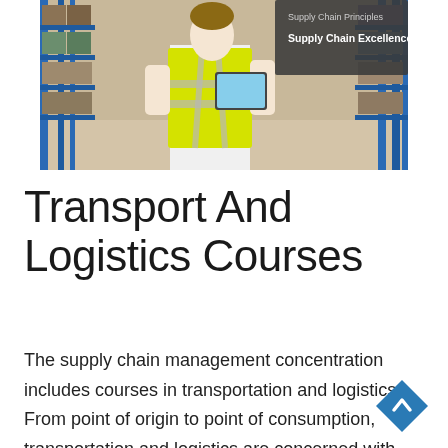[Figure (photo): Warehouse worker in yellow high-visibility vest holding a tablet, standing in front of industrial shelving. A dark overlay panel on the right shows text 'Supply Chain Principles' and 'Supply Chain Excellence'.]
Transport And Logistics Courses
The supply chain management concentration includes courses in transportation and logistics. From point of origin to point of consumption, transportation and logistics are concerned with the design, implementation, and control of products